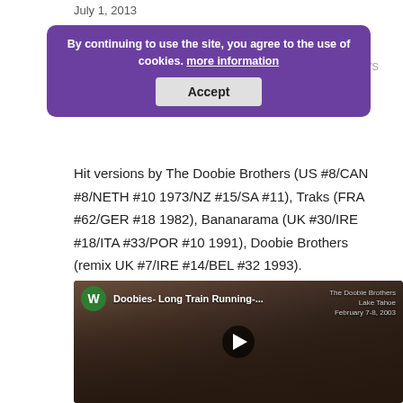July 1, 2013
By continuing to use the site, you agree to the use of cookies. more information
First recorded (as a demo) by The Doobie Brothers (c. 1970)
Hit versions by The Doobie Brothers (US #8/CAN #8/NETH #10 1973/NZ #15/SA #11), Traks (FRA #62/GER #18 1982), Bananarama (UK #30/IRE #18/ITA #33/POR #10 1991), Doobie Brothers (remix UK #7/IRE #14/BEL #32 1993).
[Figure (screenshot): YouTube video thumbnail showing The Doobie Brothers band members with title 'Doobies- Long Train Running-... Lake Tahoe February 7-8, 2003' and a play button overlay]